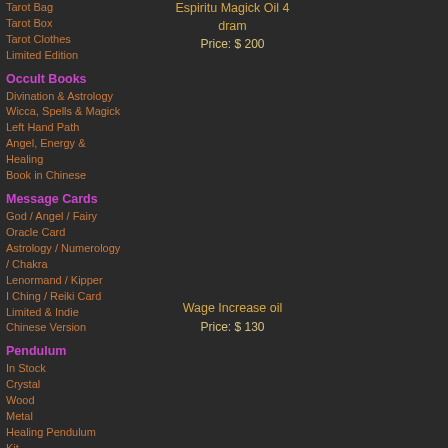Tarot Bag
Tarot Box
Tarot Clothes
Limited Edition
Espiritu Magick Oil 4 dram
Price: $ 200
Occult Books
Divination & Astrology
Wicca, Spells & Magick
Left Hand Path
Angel, Energy & Healing
Book in Chinese
Indio Oil
Price: $ 90
Message Cards
God / Angel / Fairy
Oracle Card
Astrology / Numerology / Chakra
Lenormand / Kipper
I Ching / Reiki Card
Limited & Indie
Chinese Version
Wage Increase oil
Price: $ 130
Marie Laveau Love Oil
Price: $ 99999
Discontinued Item
Pendulum
In Stock
Crystal
Wood
Metal
Healing Pendulum Kit
Pendulum Board
Charts
Pendulum-Add-On